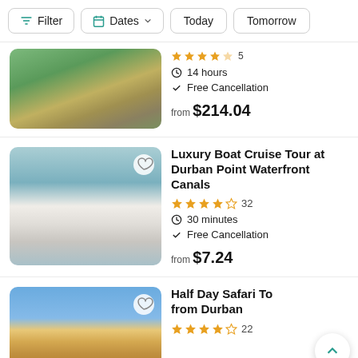Filter | Dates | Today | Tomorrow
[Figure (photo): Leopard walking on a dirt path surrounded by green grass]
14 hours
Free Cancellation
from $214.04
[Figure (photo): Aerial view of a white luxury boat on water canal with people on board]
Luxury Boat Cruise Tour at Durban Point Waterfront Canals
32
30 minutes
Free Cancellation
from $7.24
[Figure (photo): Two giraffes against a blue sky background - partially visible]
Half Day Safari Tour from Durban
22